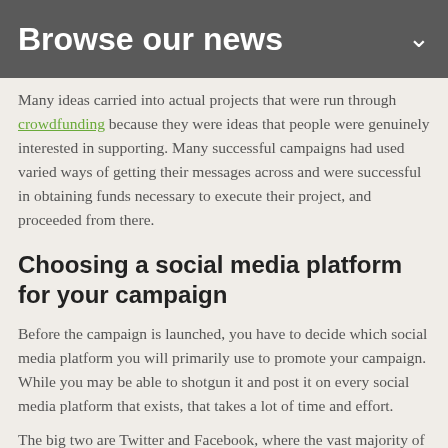Browse our news
Many ideas carried into actual projects that were run through crowdfunding because they were ideas that people were genuinely interested in supporting. Many successful campaigns had used varied ways of getting their messages across and were successful in obtaining funds necessary to execute their project, and proceeded from there.
Choosing a social media platform for your campaign
Before the campaign is launched, you have to decide which social media platform you will primarily use to promote your campaign. While you may be able to shotgun it and post it on every social media platform that exists, that takes a lot of time and effort.
The big two are Twitter and Facebook, where the vast majority of people on the Internet are. However, they